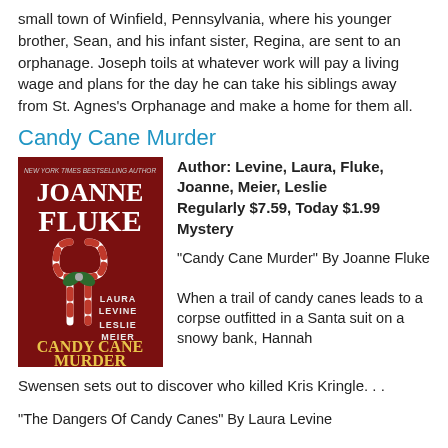small town of Winfield, Pennsylvania, where his younger brother, Sean, and his infant sister, Regina, are sent to an orphanage. Joseph toils at whatever work will pay a living wage and plans for the day he can take his siblings away from St. Agnes's Orphanage and make a home for them all.
Candy Cane Murder
[Figure (illustration): Book cover for Candy Cane Murder featuring dark red background with candy canes, authors Joanne Fluke, Laura Levine, Leslie Meier]
Author: Levine, Laura, Fluke, Joanne, Meier, Leslie
Regularly $7.59, Today $1.99
Mystery
“Candy Cane Murder” By Joanne Fluke

When a trail of candy canes leads to a corpse outfitted in a Santa suit on a snowy bank, Hannah Swensen sets out to discover who killed Kris Kringle. . .
“The Dangers Of Candy Canes” By Laura Levine